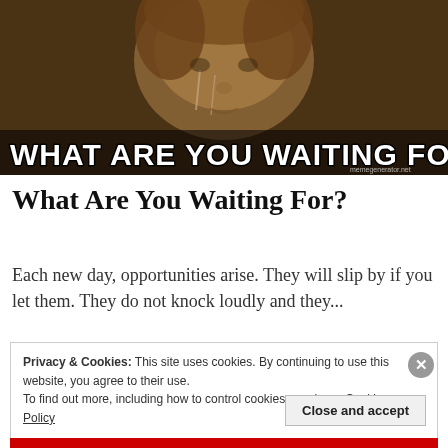[Figure (photo): Meme image of a crying person with text overlay 'WHAT ARE YOU WAITING FOR?' and memegenerator.net watermark]
What Are You Waiting For?
Each new day, opportunities arise. They will slip by if you let them. They do not knock loudly and they...
Privacy & Cookies: This site uses cookies. By continuing to use this website, you agree to their use.
To find out more, including how to control cookies, see here: Cookie Policy
Close and accept